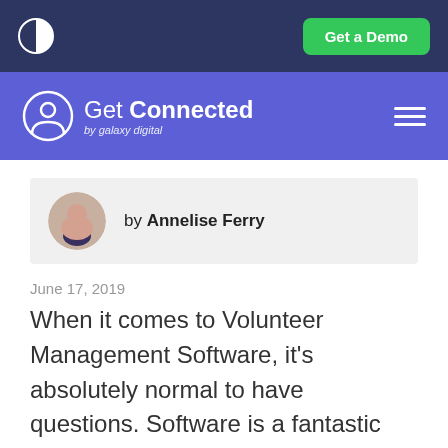Get a Demo
[Figure (logo): Get Connected by galaxy digital logo with circular person icon on purple/blue background]
by Annelise Ferry
June 17, 2019
When it comes to Volunteer Management Software, it’s absolutely normal to have questions. Software is a fantastic way to keep you, your nonprofit, and your volunteers organized.